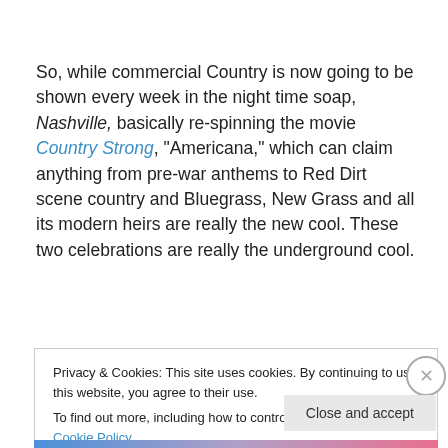So, while commercial Country is now going to be shown every week in the night time soap, Nashville, basically re-spinning the movie Country Strong, "Americana," which can claim anything from pre-war anthems to Red Dirt scene country and Bluegrass, New Grass and all its modern heirs are really the new cool. These two celebrations are really the underground cool.
Privacy & Cookies: This site uses cookies. By continuing to use this website, you agree to their use.
To find out more, including how to control cookies, see here: Cookie Policy